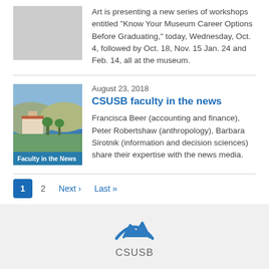Art is presenting a new series of workshops entitled “Know Your Museum Career Options Before Graduating,” today, Wednesday, Oct. 4, followed by Oct. 18, Nov. 15 Jan. 24 and Feb. 14, all at the museum.
[Figure (photo): Thumbnail photo for CSUSB Faculty in the News article, showing campus buildings with hills in background; labeled 'Faculty in the News']
August 23, 2018
CSUSB faculty in the news
Francisca Beer (accounting and finance), Peter Robertshaw (anthropology), Barbara Sirotnik (information and decision sciences) share their expertise with the news media.
1  2  Next ›  Last »
[Figure (logo): CSUSB logo with blue mountain arc icon and 'CSUSB' text below]